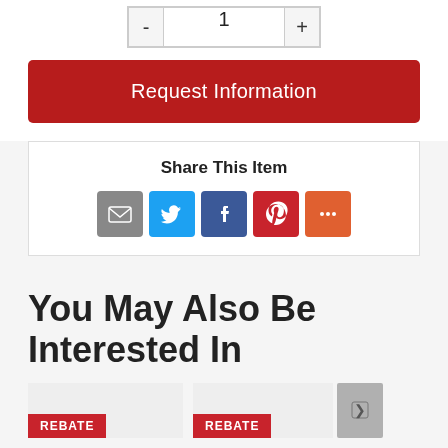- 1 +
Request Information
Share This Item
[Figure (infographic): Row of social share icons: email (grey), Twitter (blue), Facebook (blue), Pinterest (red), More (orange)]
You May Also Be Interested In
REBATE
REBATE